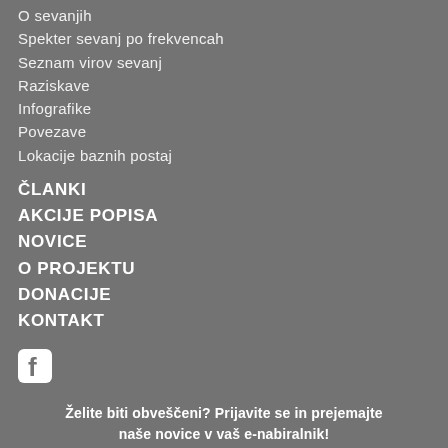O sevanjih
Spekter sevanj po frekvencah
Seznam virov sevanj
Raziskave
Infografike
Povezave
Lokacije baznih postaj
ČLANKI
AKCIJE POPISA
NOVICE
O PROJEKTU
DONACIJE
KONTAKT
[Figure (logo): Facebook icon (white)]
Želite biti obveščeni? Prijavite se in prejemajte naše novice v vaš e-nabiralnik!